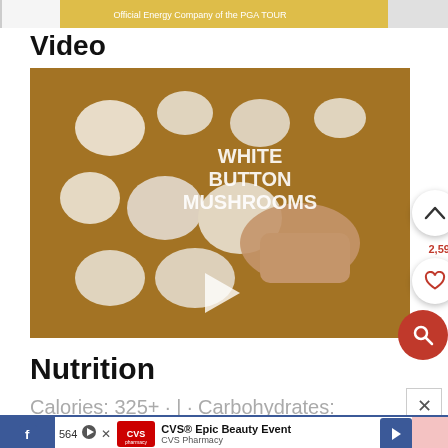[Figure (screenshot): Top advertisement banner showing PGA TOUR sponsor image]
Video
[Figure (screenshot): Video thumbnail showing white button mushrooms on a wooden cutting board with text 'WHITE BUTTON MUSHROOMS' and a play button in the center. UI elements include an up-arrow button, a heart/like button with count 2,595, and a pink search button on the right side.]
Nutrition
Calories: 325+·|·Carbohydrates:
[Figure (screenshot): Bottom advertisement bar showing Facebook share button, count 564, CVS Epic Beauty Event ad, navigation arrow, and pink area]